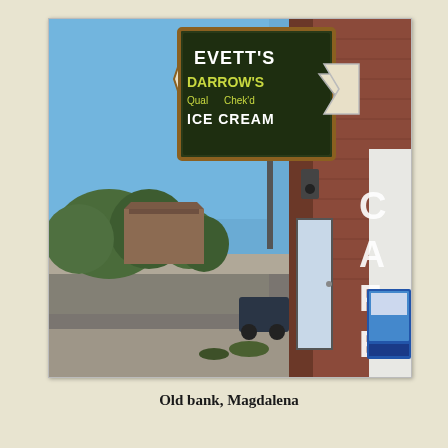[Figure (photo): Photograph of the corner of an old brick building in Magdalena. A vintage sign reads 'Evett's Darrow's Quality Chek'd Ice Cream' on an arrow-shaped neon sign. The side of the building has large white letters spelling 'CAFE'. A blue newspaper vending machine sits at the base of the building. Trees and other buildings are visible in the background under a clear blue sky.]
Old bank, Magdalena